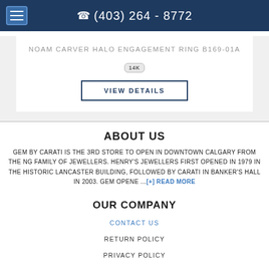(403) 264 - 8772
NOAM CARVER HALO ENGAGEMENT RING B169-01A
14K
VIEW DETAILS
ABOUT US
GEM BY CARATI IS THE 3RD STORE TO OPEN IN DOWNTOWN CALGARY FROM THE NG FAMILY OF JEWELLERS. HENRY'S JEWELLERS FIRST OPENED IN 1979 IN THE HISTORIC LANCASTER BUILDING, FOLLOWED BY CARATI IN BANKER'S HALL IN 2003. GEM OPENE ...[+] READ MORE
OUR COMPANY
CONTACT US
RETURN POLICY
PRIVACY POLICY